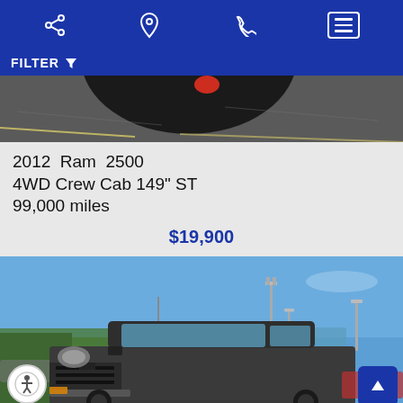Navigation bar with share, location, phone, and menu icons
FILTER
[Figure (photo): Partial view of a vehicle tire/wheel on a parking lot surface, cropped]
2012 Ram 2500 4WD Crew Cab 149" ST 99,000 miles
$19,900
[Figure (photo): A dark gray Jeep Patriot SUV parked in a dealership lot with blue sky background, street lights visible in background]